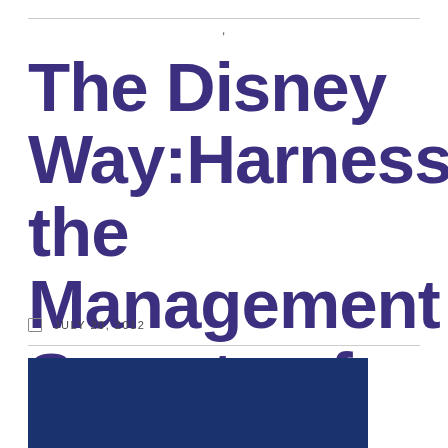,
The Disney Way:Harnessing the Management Secrets of Disney
JULY 20, 2012
[Figure (photo): Book cover of The Disney Way showing a dark blue background with a quote from Tyra Banks: 'The Disney Way has become a business handbook for me and my entire team.' —Tyra Banks, Founder and CEO, TYRA Beauty, and the large white text 'The' visible at the bottom]